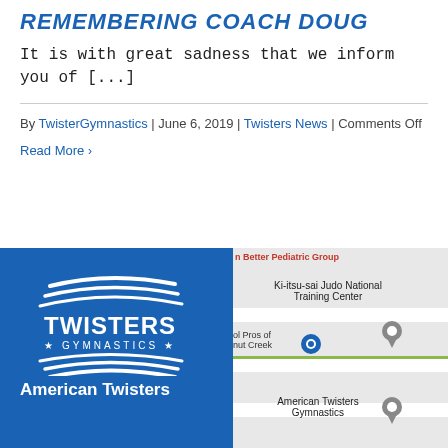REMEMBERING COACH DOUG
It is with great sadness that we inform you of [...]
By TwisterGymnastics | June 6, 2019 | Twisters News | Comments Off
Read More >
[Figure (logo): Twisters Gymnastics white logo with swoosh lines and stars]
American Twisters
[Figure (map): Google Maps screenshot showing American Twisters Gymnastics location, Ki-itsu-sai Judo National Training Center, and Better Pediatric Group nearby]